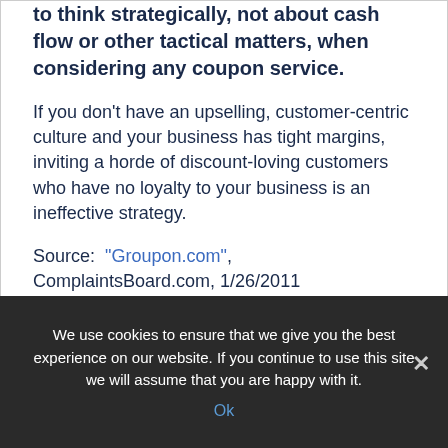to think strategically, not about cash flow or other tactical matters, when considering any coupon service.
If you don't have an upselling, customer-centric culture and your business has tight margins, inviting a horde of discount-loving customers who have no loyalty to your business is an ineffective strategy.
Source: "Groupon.com", ComplaintsBoard.com, 1/26/2011
Source: "Hey, Ellen, Should We Do Groupon?" Restaurant Intelligence, 9/18/2009
We use cookies to ensure that we give you the best experience on our website. If you continue to use this site we will assume that you are happy with it. Ok